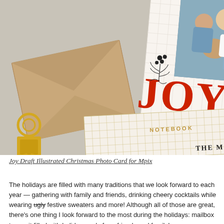[Figure (photo): A styled flat-lay photo showing a holiday greeting card with 'JOY' in large red serif letters and a family photo of parents with three children including a newborn; a kraft paper envelope, a cream-colored grid notebook labeled 'NOTEBOOK', and gold binder clips are arranged on a taupe/grey background.]
Joy Draft Illustrated Christmas Photo Card for Mpix
The holidays are filled with many traditions that we look forward to each year — gathering with family and friends, drinking cheery cocktails while wearing ugly festive sweaters and more! Although all of those are great, there's one thing I look forward to the most during the holidays: mailbox to see it filled with holiday cards from friends and family!